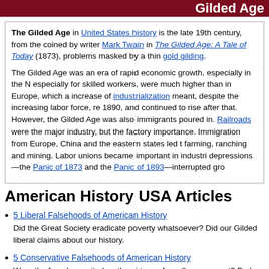Gilded Age
The Gilded Age in United States history is the late 19th century, from the coined by writer Mark Twain in The Gilded Age: A Tale of Today (1873), problems masked by a thin gold gilding.

The Gilded Age was an era of rapid economic growth, especially in the N especially for skilled workers, were much higher than in Europe, which a increase of industrialization meant, despite the increasing labor force, re 1890, and continued to rise after that. However, the Gilded Age was also immigrants poured in. Railroads were the major industry, but the factory importance. Immigration from Europe, China and the eastern states led to farming, ranching and mining. Labor unions became important in industri depressions—the Panic of 1873 and the Panic of 1893—interrupted gro
American History USA Articles
5 Liberal Falsehoods of American History
Did the Great Society eradicate poverty whatsoever? Did our Gilded liberal claims about our history.
5 Conservative Falsehoods of American History
Were the founders united on the virtues of small government? Do lo conservative claims about U.S. history.